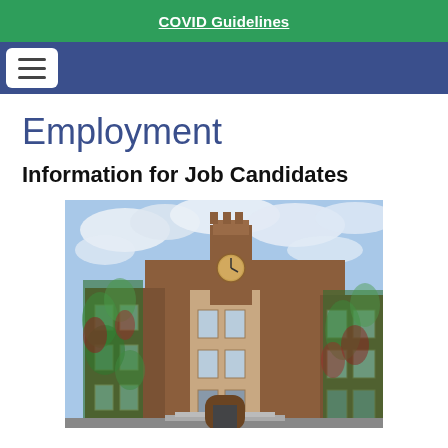COVID Guidelines
Employment
Information for Job Candidates
[Figure (photo): Exterior photo of a brick university building with a clock tower, covered in green and red ivy, photographed from below against a partly cloudy sky.]